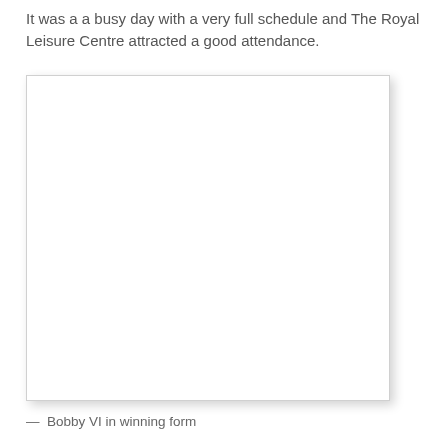It was a a busy day with a very full schedule and The Royal Leisure Centre attracted a good attendance.
[Figure (photo): A blank/white photograph placeholder with a light border and drop shadow.]
— Bobby VI in winning form